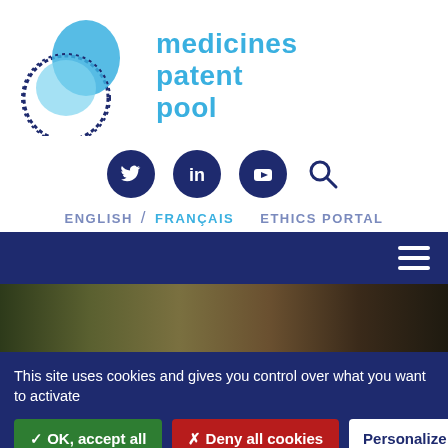[Figure (logo): Medicines Patent Pool logo: interlocking gear-like circles in light blue and dark blue outline, with text 'medicines patent pool' in teal/blue]
[Figure (infographic): Social media icons row: Twitter (dark navy circle), LinkedIn (dark navy circle), YouTube (dark navy circle), and a search magnifier icon]
ENGLISH / FRANÇAIS   ETHICS PORTAL
[Figure (screenshot): Dark navy navigation bar with hamburger menu icon on the right]
[Figure (photo): Partial photo strip showing a person's head/hair, brownish tones]
This site uses cookies and gives you control over what you want to activate
✓ OK, accept all
✗ Deny all cookies
Personalize
Privacy policy